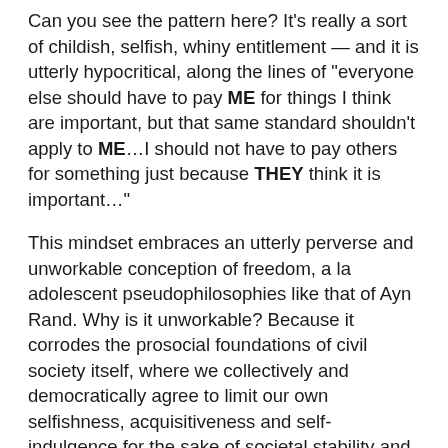Can you see the pattern here? It's really a sort of childish, selfish, whiny entitlement — and it is utterly hypocritical, along the lines of "everyone else should have to pay ME for things I think are important, but that same standard shouldn't apply to ME…I should not have to pay others for something just because THEY think it is important…"
This mindset embraces an utterly perverse and unworkable conception of freedom, a la adolescent pseudophilosophies like that of Ayn Rand. Why is it unworkable? Because it corrodes the prosocial foundations of civil society itself, where we collectively and democratically agree to limit our own selfishness, acquisitiveness and self-indulgence for the sake of societal stability and collective thriving. We relax I/Me/Mine for the good of All. That's what adulthood looks like.
Of course, if enough folks don't agree to given tax, and want to vote it out of existence, they can do that. But that